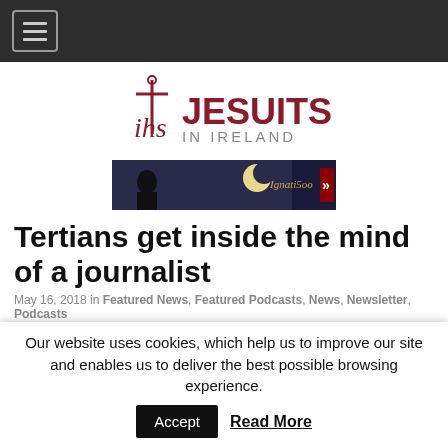Navigation bar with hamburger menu
[Figure (logo): IHS Jesuits in Ireland logo with cross symbol, text in dark red and grey]
[Figure (photo): Ignatius500 banner advertisement with dark night sky, moon, and silhouette figure]
Tertians get inside the mind of a journalist
May 16, 2018 in Featured News, Featured Podcasts, News, Newsletter, Podcasts
[Figure (screenshot): SoundCloud embedded player with orange Play on SoundCloud button]
Our website uses cookies, which help us to improve our site and enables us to deliver the best possible browsing experience.
Accept  Read More